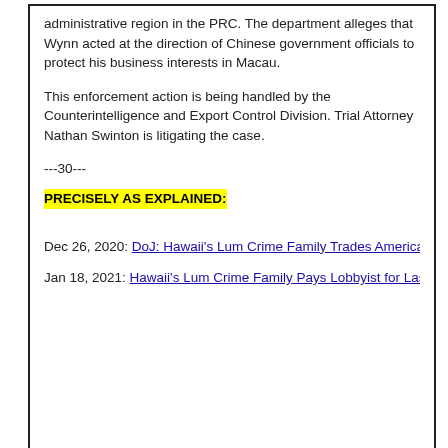administrative region in the PRC. The department alleges that Wynn acted at the direction of Chinese government officials to protect his business interests in Macau.
This enforcement action is being handled by the Counterintelligence and Export Control Division. Trial Attorney Nathan Swinton is litigating the case.
---30---
PRECISELY AS EXPLAINED:
Dec 26, 2020: DoJ: Hawaii's Lum Crime Family Trades American Hostages in T…
Jan 18, 2021: Hawaii's Lum Crime Family Pays Lobbyist for Last-Minute Trump…